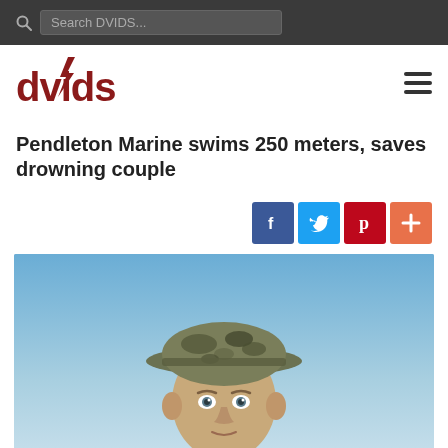Search DVIDS...
[Figure (logo): DVIDS logo in dark red with stylized lightning bolt]
Pendleton Marine swims 250 meters, saves drowning couple
[Figure (photo): Social share buttons: Facebook (blue), Twitter (light blue), Pinterest (red), Plus (orange)]
[Figure (photo): Portrait photo of a young Marine in camouflage boonie hat against a blue sky background, looking directly at camera]